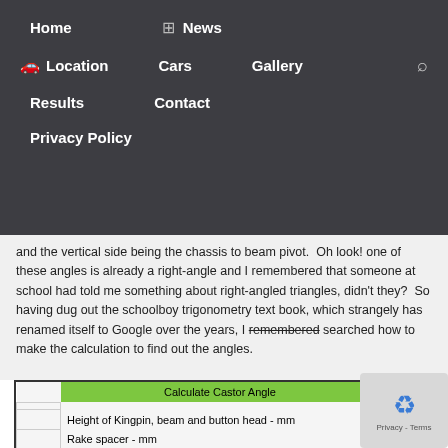Navigation menu with Home, News, Location, Cars, Gallery, Results, Contact, Privacy Policy
and the vertical side being the chassis to beam pivot.  Oh look! one of these angles is already a right-angle and I remembered that someone at school had told me something about right-angled triangles, didn't they?  So having dug out the schoolboy trigonometry text book, which strangely has renamed itself to Google over the years, I remembered searched how to make the calculation to find out the angles.
|  | Calculate Castor Angle |  |
| --- | --- | --- |
| Height of Kingpin, beam and button head - mm |  | 35.28 |
| Rake spacer - mm |  | 2.50 |